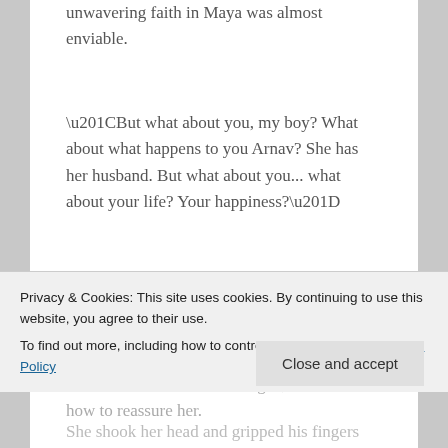unwavering faith in Maya was almost enviable.
“But what about you, my boy? What about what happens to you Arnav? She has her husband. But what about you... what about your life? Your happiness?”
“Nani...” He began, unsure of how to reassure her.
Privacy & Cookies: This site uses cookies. By continuing to use this website, you agree to their use.
To find out more, including how to control cookies, see here: Cookie Policy
She shook her head and gripped his fingers